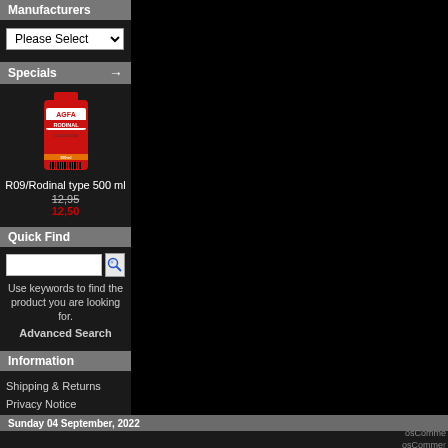Manufacturers
[Figure (screenshot): Dropdown select box labeled 'Please Select' with a down arrow]
Specials
[Figure (photo): Product image of AGFA Rodinal R09 500ml bottle in red packaging]
R09/Rodinal type 500 ml
12,95
12,50
Quick Find
[Figure (screenshot): Search input box with magnifying glass icon button]
Use keywords to find the product you are looking for.
Advanced Search
Information
Shipping & Returns
Privacy Notice
Order Information
Contact Us
Sunday 04 September, 2022
osCommerce
osCommerce